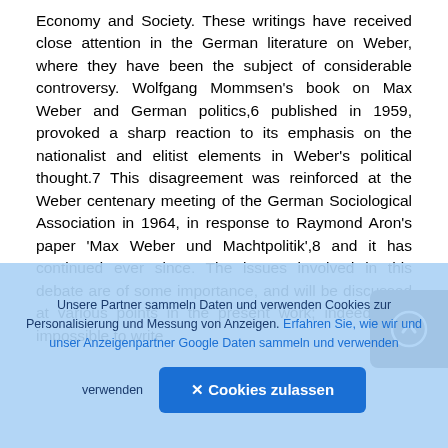Economy and Society. These writings have received close attention in the German literature on Weber, where they have been the subject of considerable controversy. Wolfgang Mommsen's book on Max Weber and German politics,6 published in 1959, provoked a sharp reaction to its emphasis on the nationalist and elitist elements in Weber's political thought.7 This disagreement was reinforced at the Weber centenary meeting of the German Sociological Association in 1964, in response to Raymond Aron's paper 'Max Weber und Machtpolitik',8 and it has continued ever since. The issues involved in this debate are of some importance, and will be discussed at various points in the present work; indeed, it is impossible to write
[Figure (other): Dark navigation button with a circle-arrow (up) icon]
Unsere Partner sammeln Daten und verwenden Cookies zur Personalisierung und Messung von Anzeigen. Erfahren Sie, wie wir und unser Anzeigenpartner Google Daten sammeln und verwenden